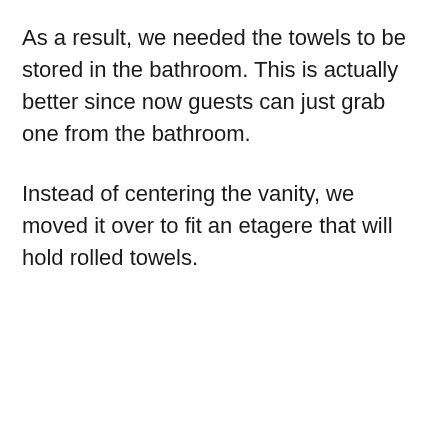As a result, we needed the towels to be stored in the bathroom. This is actually better since now guests can just grab one from the bathroom.
Instead of centering the vanity, we moved it over to fit an etagere that will hold rolled towels.